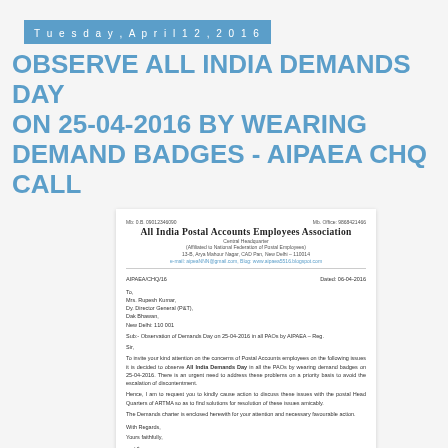Tuesday, April 12, 2016
OBSERVE ALL INDIA DEMANDS DAY ON 25-04-2016 BY WEARING DEMAND BADGES - AIPAEA CHQ CALL
[Figure (other): Scanned letter from All India Postal Accounts Employees Association (Central Headquarter), addressed to Mrs. Rupesh Kumar, Dy. Director General (P&T), Dak Bhawan, New Delhi 110 001. Reference AIPAEA/CHQ/16, Date 06-04-2016. Subject: Observation of Demands Day on 25-04-2016 in all PAOs by AIPAEA. The letter requests urgent action on postal accounts employees' issues, announces All India Demands Day on 25-04-2016 by wearing demand badges, and encloses a Demands Charter. Signed by C.M. Chandrabaskar.]